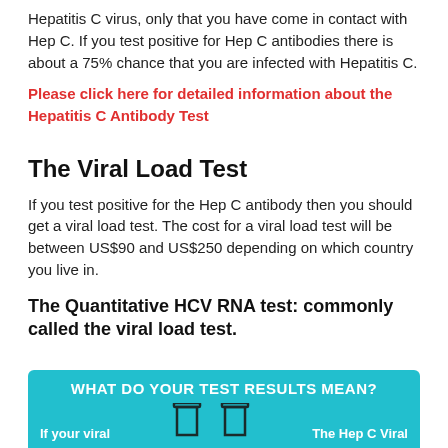Hepatitis C virus, only that you have come in contact with Hep C. If you test positive for Hep C antibodies there is about a 75% chance that you are infected with Hepatitis C.
Please click here for detailed information about the Hepatitis C Antibody Test
The Viral Load Test
If you test positive for the Hep C antibody then you should get a viral load test. The cost for a viral load test will be between US$90 and US$250 depending on which country you live in.
The Quantitative HCV RNA test: commonly called the viral load test.
[Figure (infographic): Teal infographic titled 'WHAT DO YOUR TEST RESULTS MEAN?' with two test tube icons and captions 'If your viral' on left and 'The Hep C Viral' on right]